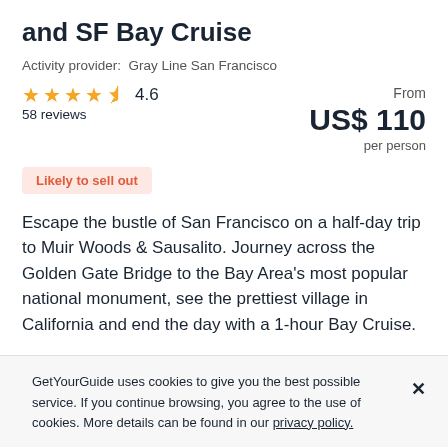and SF Bay Cruise
Activity provider:  Gray Line San Francisco
★★★★½ 4.6
58 reviews
From
US$ 110
per person
Likely to sell out
Escape the bustle of San Francisco on a half-day trip to Muir Woods & Sausalito. Journey across the Golden Gate Bridge to the Bay Area's most popular national monument, see the prettiest village in California and end the day with a 1-hour Bay Cruise.
GetYourGuide uses cookies to give you the best possible service. If you continue browsing, you agree to the use of cookies. More details can be found in our privacy policy.